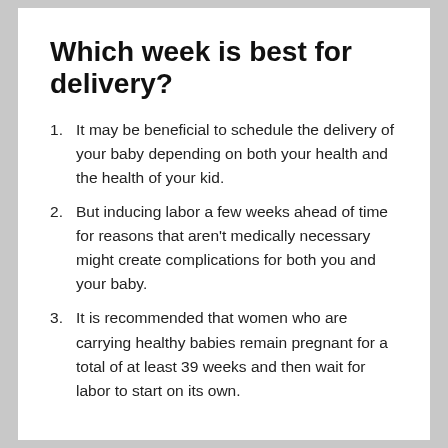Which week is best for delivery?
It may be beneficial to schedule the delivery of your baby depending on both your health and the health of your kid.
But inducing labor a few weeks ahead of time for reasons that aren't medically necessary might create complications for both you and your baby.
It is recommended that women who are carrying healthy babies remain pregnant for a total of at least 39 weeks and then wait for labor to start on its own.